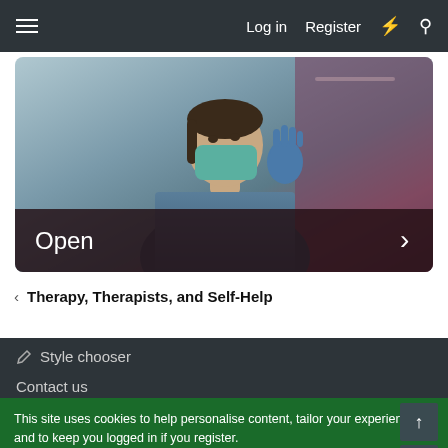Log in  Register
[Figure (photo): Healthcare worker wearing a surgical mask and blue gloves, looking upward in a clinical setting]
Open
< Therapy, Therapists, and Self-Help
Style chooser
Contact us
This site uses cookies to help personalise content, tailor your experience and to keep you logged in if you register.
By continuing to use this site, you are consenting to our use of cookies.
✓ Accept
Learn more...